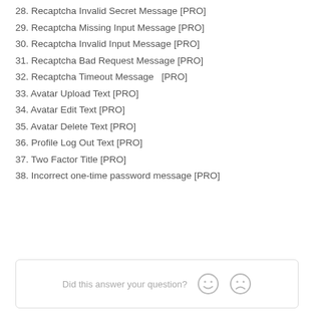28. Recaptcha Invalid Secret Message [PRO]
29. Recaptcha Missing Input Message [PRO]
30. Recaptcha Invalid Input Message [PRO]
31. Recaptcha Bad Request Message [PRO]
32. Recaptcha Timeout Message  [PRO]
33. Avatar Upload Text [PRO]
34. Avatar Edit Text [PRO]
35. Avatar Delete Text [PRO]
36. Profile Log Out Text [PRO]
37. Two Factor Title [PRO]
38. Incorrect one-time password message [PRO]
Did this answer your question?